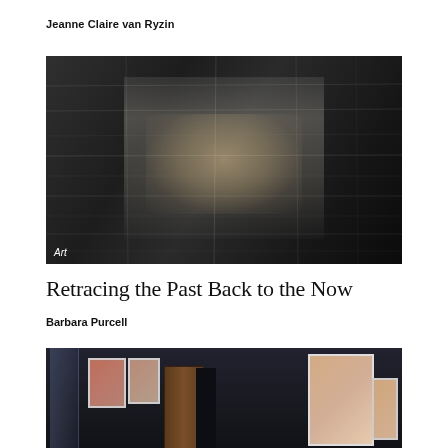Jeanne Claire van Ryzin
[Figure (photo): Dark artistic photo showing a large piece of crinkled plastic or metallic material on a wall with an image of a group of people (possibly a historical photograph or painting) visible through it, partially illuminated. Label 'Art' in bottom left corner.]
Art
Retracing the Past Back to the Now
Barbara Purcell
[Figure (photo): Interior gallery room with dark walls. On the left is a window, in the center a wooden door. A person stands in the center. Several framed artworks/portraits hang on the walls, including a large portrait of a person in ornate clothing on the right side.]